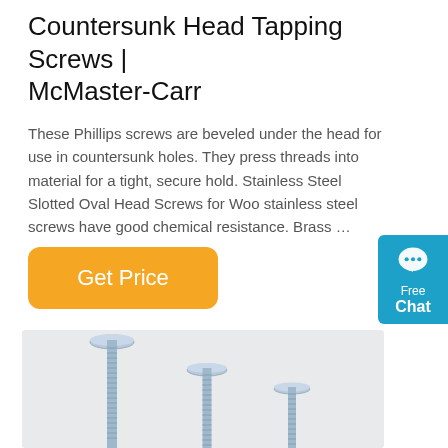Countersunk Head Tapping Screws | McMaster-Carr
These Phillips screws are beveled under the head for use in countersunk holes. They press threads into material for a tight, secure hold. Stainless Steel Slotted Oval Head Screws for Woo stainless steel screws have good chemical resistance. Brass …
[Figure (other): Free Chat widget button in blue]
[Figure (photo): Photo of multiple countersunk head tapping screws with blue/silver zinc-plated finish lying on a light grey surface, showing threaded shafts and flat countersunk heads]
Get Price